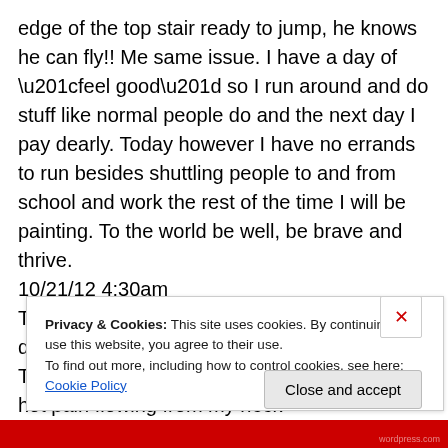edge of the top stair ready to jump, he knows he can fly!! Me same issue. I have a day of “feel good” so I run around and do stuff like normal people do and the next day I pay dearly. Today however I have no errands to run besides shuttling people to and from school and work the rest of the time I will be painting. To the world be well, be brave and thrive.
10/21/12 4:30am
The day finds me once again up before the dawn. Shaking and quaking through my day. The pain woke me this morning. Waves of red hot pain flowing from my neck
Privacy & Cookies: This site uses cookies. By continuing to use this website, you agree to their use.
To find out more, including how to control cookies, see here: Cookie Policy
Close and accept